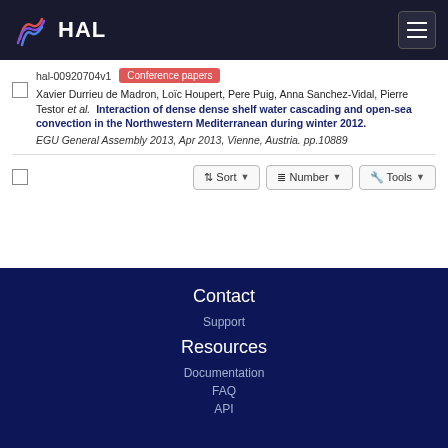HAL
hal-00920704v1  Conference papers
Xavier Durrieu de Madron, Loïc Houpert, Pere Puig, Anna Sanchez-Vidal, Pierre Testor et al.  Interaction of dense dense shelf water cascading and open-sea convection in the Northwestern Mediterranean during winter 2012.
EGU General Assembly 2013, Apr 2013, Vienne, Austria. pp.10889
Sort  Number  Tools
Contact
Support
Resources
Documentation
FAQ
API